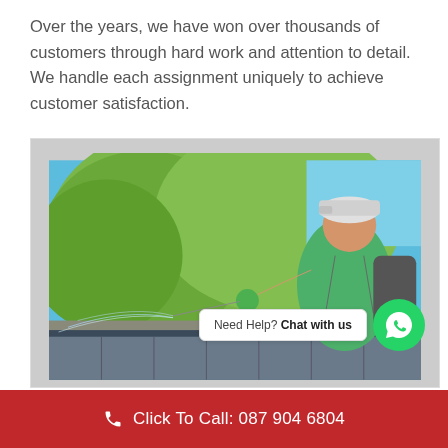Over the years, we have won over thousands of customers through hard work and attention to detail. We handle each assignment uniquely to achieve customer satisfaction.
[Figure (photo): A man wearing a white cap, green t-shirt and green gloves using a pressure washer to clean a roof gutter. Blue sky and green trees in the background. A WhatsApp 'Need Help? Chat with us' widget is overlaid on the lower right of the image.]
Click To Call: 087 904 6804